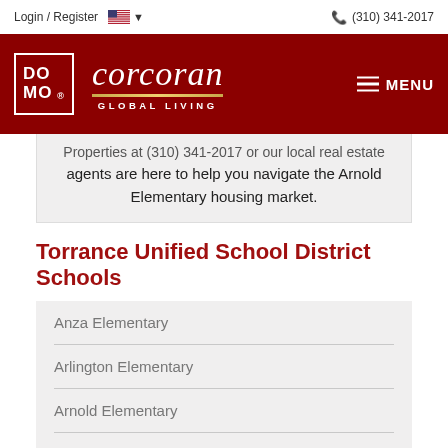Login / Register   (310) 341-2017
[Figure (logo): DOMO MOMO logo (white text on dark red) and Corcoran Global Living brand logo in white italic script on dark red background, with MENU navigation button]
Properties at (310) 341-2017 or our local real estate agents are here to help you navigate the Arnold Elementary housing market.
Torrance Unified School District Schools
Anza Elementary
Arlington Elementary
Arnold Elementary
Bert Lynn Middle School
Calle Mayor Middle School